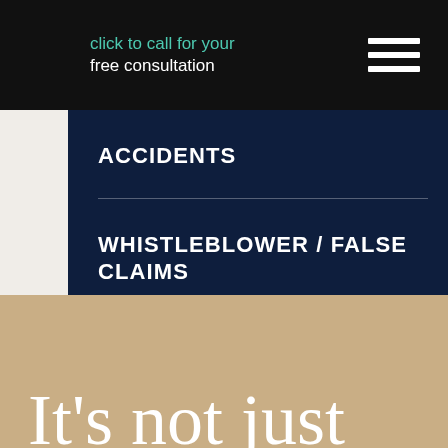click to call for your free consultation
ACCIDENTS
WHISTLEBLOWER / FALSE CLAIMS
WORKPLACE ACCIDENT
It's not just